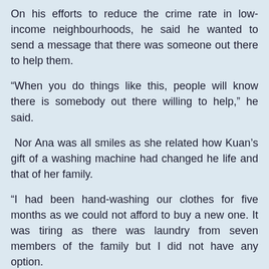On his efforts to reduce the crime rate in low-income neighbourhoods, he said he wanted to send a message that there was someone out there to help them.
“When you do things like this, people will know there is somebody out there willing to help,” he said.
Nor Ana was all smiles as she related how Kuan’s gift of a washing machine had changed he life and that of her family.
“I had been hand-washing our clothes for five months as we could not afford to buy a new one. It was tiring as there was laundry from seven members of the family but I did not have any option.
“Our Hero Malaya is the reason we have a washing machine and less work for me now. It was a hand-me-down but it has been working fine,” she said.
Housewife Farah Nabilah Ismail, 45, who was chosen as the leader for PPR Bukit Jalil, said she used the money to